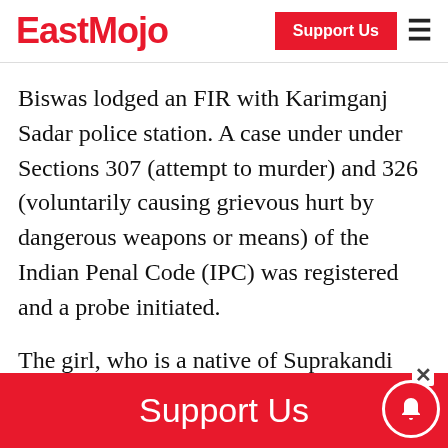EastMojo | Support Us
Biswas lodged an FIR with Karimganj Sadar police station. A case under under Sections 307 (attempt to murder) and 326 (voluntarily causing grievous hurt by dangerous weapons or means) of the Indian Penal Code (IPC) was registered and a probe initiated.
The girl, who is a native of Suprakandi village in Karimganj, was arrested and she was produced before a court, which sent her to judicial custody, the official said.
Support Us